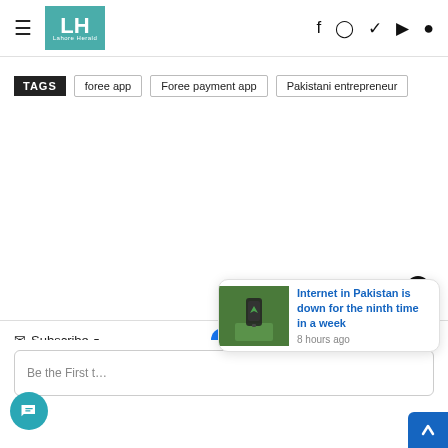LH Lahore Herald - navigation header with social icons
TAGS  foree app  Foree payment app  Pakistani entrepreneur
Subscribe  [social icons]  Login
Be the First to...
Internet in Pakistan is down for the ninth time in a week  8 hours ago